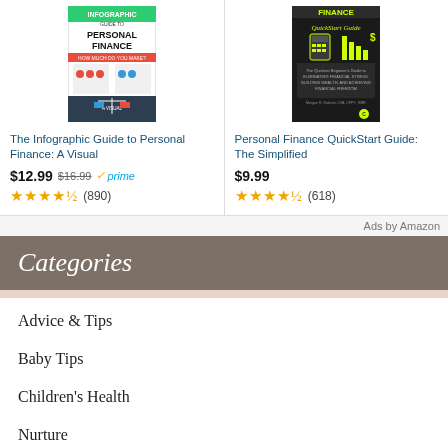[Figure (illustration): Book cover: The Infographic Guide to Personal Finance: A Visual - colorful infographic style cover]
The Infographic Guide to Personal Finance: A Visual
$12.99 $16.99 ✓prime
★★★★½ (890)
[Figure (illustration): Book cover: Personal Finance QuickStart Guide: The Simplified - dark background with calculator and bar chart]
Personal Finance QuickStart Guide: The Simplified
$9.99
★★★★½ (618)
Ads by Amazon
Categories
Advice & Tips
Baby Tips
Children's Health
Nurture